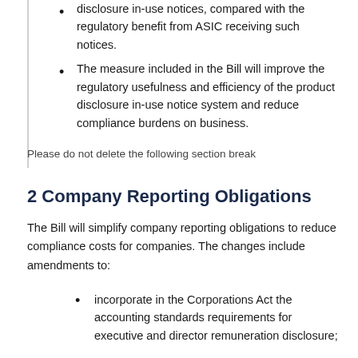disclosure in-use notices, compared with the regulatory benefit from ASIC receiving such notices.
The measure included in the Bill will improve the regulatory usefulness and efficiency of the product disclosure in-use notice system and reduce compliance burdens on business.
Please do not delete the following section break
2 Company Reporting Obligations
The Bill will simplify company reporting obligations to reduce compliance costs for companies. The changes include amendments to:
incorporate in the Corporations Act the accounting standards requirements for executive and director remuneration disclosure;